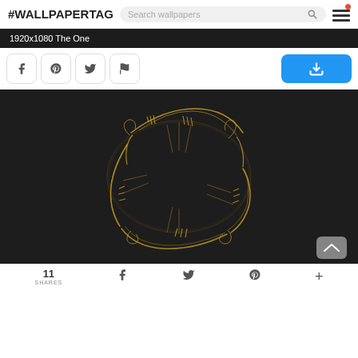#WALLPAPERTAG
1920x1080 The One
[Figure (screenshot): Wallpaper image showing a circular golden elvish inscription (One Ring inscription) on a dark textured background — Lord of the Rings themed wallpaper]
11 SHARES